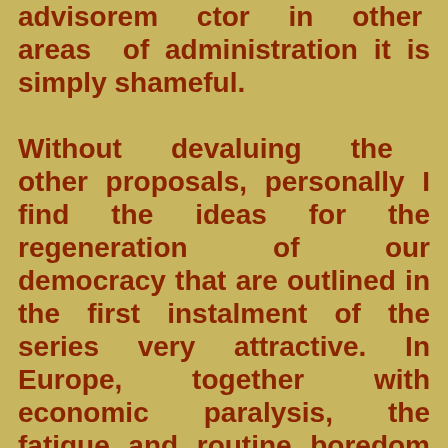advisorem ctor in other areas of administration it is simply shameful. Without devaluing the other proposals, personally I find the ideas for the regeneration of our democracy that are outlined in the first instalment of the series very attractive. In Europe, together with economic paralysis, the fatigue and routine boredom of the democracy of parties and the internal monolithicism and corruption of those same political formations that are articulated around a personal